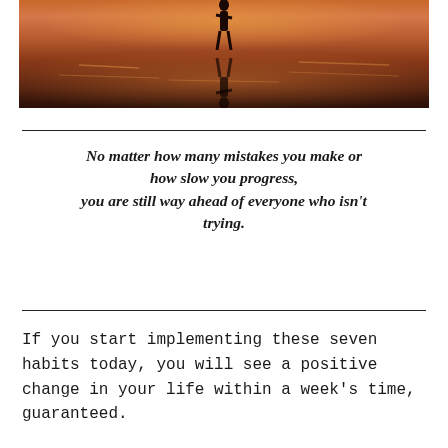[Figure (photo): Sunset reflection photo showing silhouette of a person standing over water with orange and red sky reflected on the water surface]
No matter how many mistakes you make or how slow you progress, you are still way ahead of everyone who isn't trying.
If you start implementing these seven habits today, you will see a positive change in your life within a week's time, guaranteed.